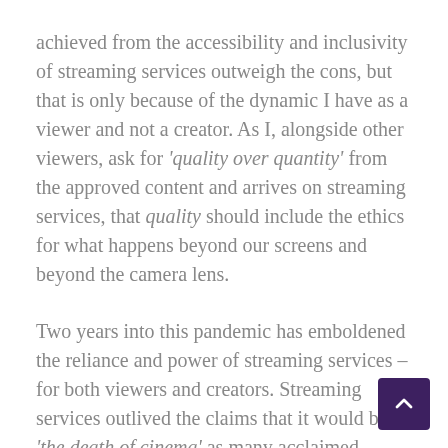achieved from the accessibility and inclusivity of streaming services outweigh the cons, but that is only because of the dynamic I have as a viewer and not a creator. As I, alongside other viewers, ask for 'quality over quantity' from the approved content and arrives on streaming services, that quality should include the ethics for what happens beyond our screens and beyond the camera lens.
Two years into this pandemic has emboldened the reliance and power of streaming services – for both viewers and creators. Streaming services outlived the claims that it would be 'the death of cinema' as many acclaimed traditional film directors have prophesized. This is the cue for the film industry's creative and financial aspects to be redefined along with the evolution of streaming services, yet there's so much